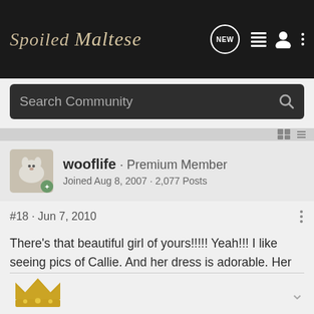Spoiled Maltese
Search Community
wooflife · Premium Member
Joined Aug 8, 2007 · 2,077 Posts
#18 · Jun 7, 2010
There's that beautiful girl of yours!!!!! Yeah!!! I like seeing pics of Callie. And her dress is adorable. Her little chicken legs will be grown out in no time her fur is looking thicker already.

Kisses, kisses, kisses!!!
[Figure (illustration): Partial gold crown icon visible at the bottom of the page]